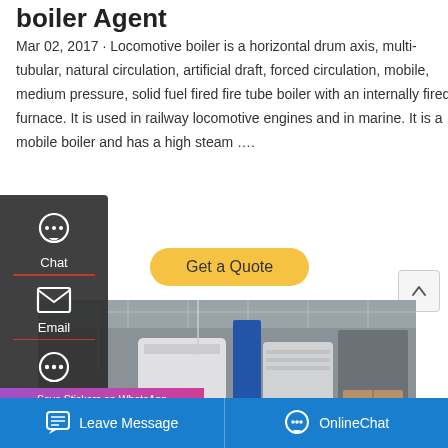boiler Agent
Mar 02, 2017 · Locomotive boiler is a horizontal drum axis, multi-tubular, natural circulation, artificial draft, forced circulation, mobile, medium pressure, solid fuel fired fire tube boiler with an internally fired furnace. It is used in railway locomotive engines and in marine. It is a mobile boiler and has a high steam ….
[Figure (screenshot): Get a Quote yellow button]
[Figure (photo): Factory interior with large boilers wrapped in packaging material, overhead cranes visible]
[Figure (screenshot): Save Stickers on WhatsApp popup with phone and emoji icons on pink/purple gradient background]
[Figure (screenshot): Left sidebar with Chat, Email, Contact icons on dark background]
[Figure (screenshot): Bottom blue bar with Leave Message and OnlineChat buttons]